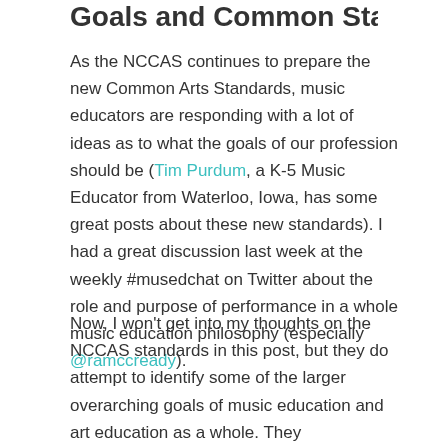Goals and Common Standards
As the NCCAS continues to prepare the new Common Arts Standards, music educators are responding with a lot of ideas as to what the goals of our profession should be (Tim Purdum, a K-5 Music Educator from Waterloo, Iowa, has some great posts about these new standards). I had a great discussion last week at the weekly #musedchat on Twitter about the role and purpose of performance in a whole music education philosophy (especially @ramccready).
Now, I won't get into my thoughts on the NCCAS standards in this post, but they do attempt to identify some of the larger overarching goals of music education and art education as a whole. They identify them as the...